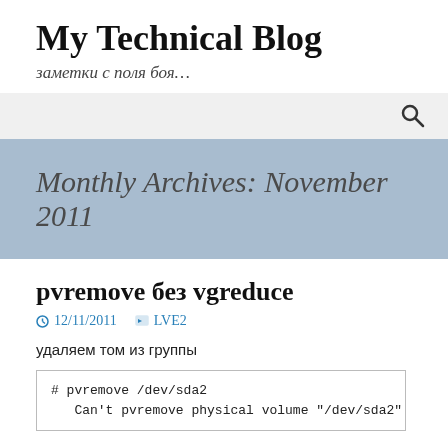My Technical Blog
заметки с поля боя…
Monthly Archives: November 2011
pvremove без vgreduce
12/11/2011   LVE2
удаляем том из группы
# pvremove /dev/sda2
   Can't pvremove physical volume "/dev/sda2" of